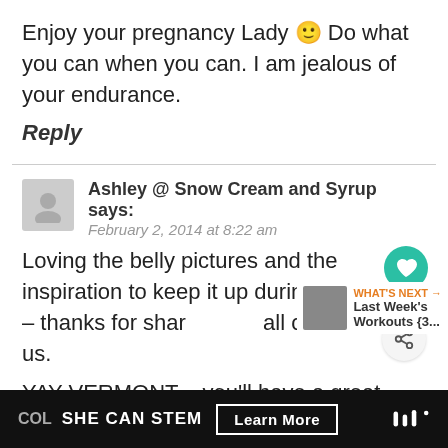Enjoy your pregnancy Lady 🙂 Do what you can when you can. I am jealous of your endurance.
Reply
Ashley @ Snow Cream and Syrup says:
February 2, 2014 at 8:22 am
Loving the belly pictures and the inspiration to keep it up during pregnancy – thanks for sharing all of that with us.
YAY VERMONT – you'll have a great time! (of
COL  SHE CAN STEM  Learn More